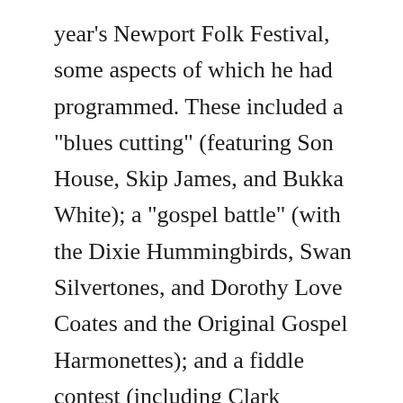year's Newport Folk Festival, some aspects of which he had programmed. These included a "blues cutting" (featuring Son House, Skip James, and Bukka White); a "gospel battle" (with the Dixie Hummingbirds, Swan Silvertones, and Dorothy Love Coates and the Original Gospel Harmonettes); and a fiddle contest (including Clark Kessinger, Angus Chisholm, and the Coon Creek Girls). In addition to impromptu recordings of some festival participants—such as Canray Fontenot and Alphonse "Bois Sec" Ardoin, Joe Heaney, Dock Boggs, Bessie Jones, and Janie Hunter—Lomax also arranged for the filming of performances by House, White, James, Howlin' Wolf, and Rev. Pearly Brown in an ersatz juke joint